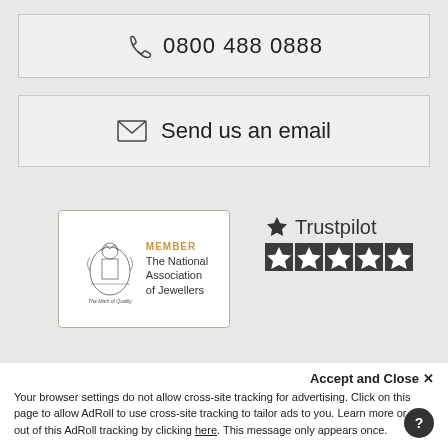0800 488 0888
Send us an email
[Figure (logo): National Association of Jewellers member badge with crest logo, text: MEMBER The National Association of Jewellers, The Mark of Quality]
[Figure (logo): Trustpilot logo with star icon and 5 dark star rating badges]
[Figure (logo): Retail Jeweller UK Jewellery Awards logo]
[Figure (logo): Google logo with star rating]
Accept and Close ×
Your browser settings do not allow cross-site tracking for advertising. Click on this page to allow AdRoll to use cross-site tracking to tailor ads to you. Learn more or opt out of this AdRoll tracking by clicking here. This message only appears once.